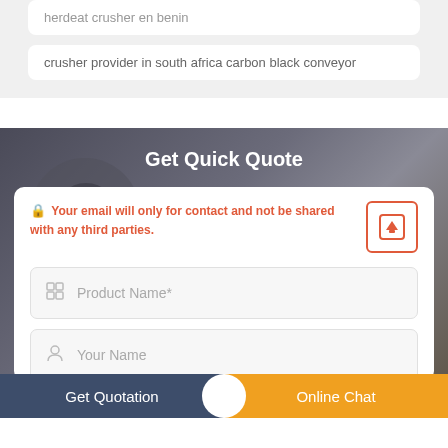herdeat crusher en benin
crusher provider in south africa carbon black conveyor
Get Quick Quote
Your email will only for contact and not be shared with any third parties.
Product Name*
Your Name
Get Quotation
Online Chat